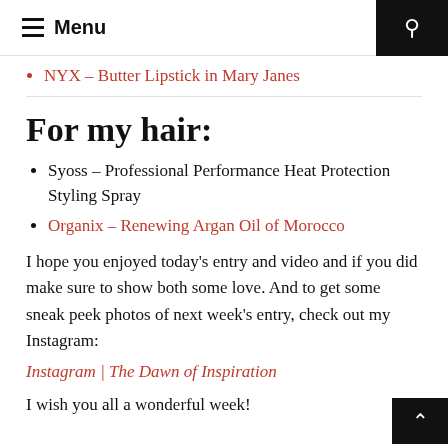Menu
NYX – Butter Lipstick in Mary Janes
For my hair:
Syoss – Professional Performance Heat Protection Styling Spray
Organix – Renewing Argan Oil of Morocco
I hope you enjoyed today's entry and video and if you did make sure to show both some love. And to get some sneak peek photos of next week's entry, check out my Instagram:
Instagram | The Dawn of Inspiration
I wish you all a wonderful week!